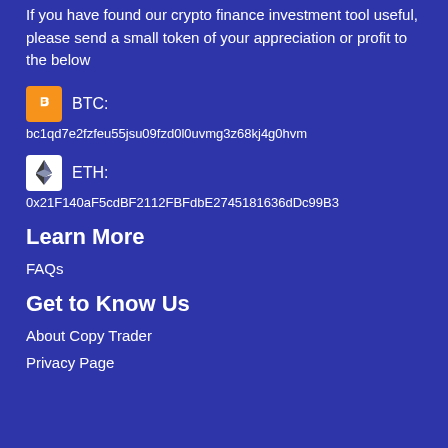If you have found our crypto finance investment tool useful, please send a small token of your appreciation or profit to the below
BTC: bc1qd7e2fzfeu55jsu09fzd0l0uvmg3z68kj4g0hvm
ETH: 0x21F140aF5cdBF2112FBFdbE2745181636dDc99B3
Learn More
FAQs
Get to Know Us
About Copy Trader
Privacy Page